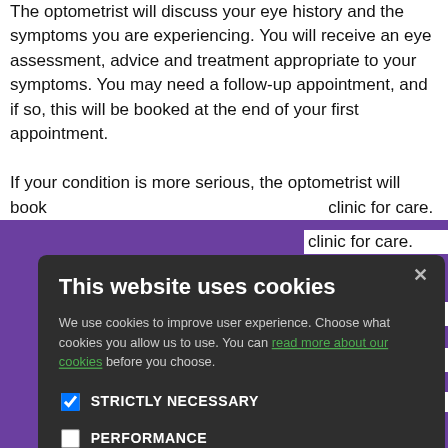The optometrist will discuss your eye history and the symptoms you are experiencing. You will receive an eye assessment, advice and treatment appropriate to your symptoms. You may need a follow-up appointment, and if so, this will be booked at the end of your first appointment.
If your condition is more serious, the optometrist will book y... clinic for care. ...spital, the ...ment with your ...neral health
[Figure (screenshot): Cookie consent modal overlay with dark background. Title: 'This website uses cookies'. Body: 'We use cookies to improve user experience. Choose what cookies you allow us to use. You can read more about our cookies before you choose.' Checkboxes: STRICTLY NECESSARY (checked), PERFORMANCE, TARGETING, FUNCTIONALITY. Buttons: ACCEPT ALL (green), DECLINE ALL (outline).]
Some footer navigation